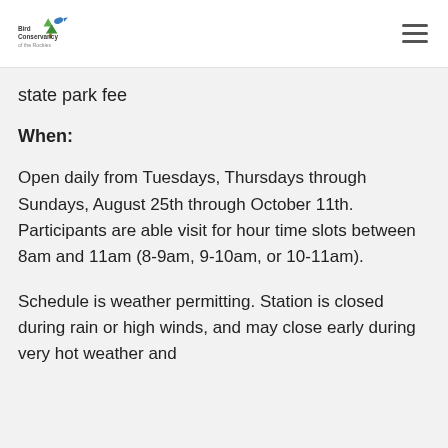Bird Conservancy of the Rockies
state park fee
When:
Open daily from Tuesdays, Thursdays through Sundays, August 25th through October 11th. Participants are able visit for hour time slots between 8am and 11am (8-9am, 9-10am, or 10-11am).
Schedule is weather permitting. Station is closed during rain or high winds, and may close early during very hot weather and